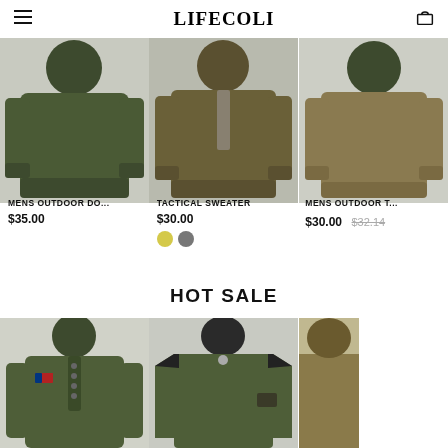LIFECOLI
[Figure (photo): Three product images in a row: olive/army green men's sweaters/hoodies on a dark background]
MENS OUTDOOR DO...
$35.00
TACTICAL SWEATER
$30.00
MENS OUTDOOR T...
$30.00  $32.14
HOT SALE
[Figure (photo): Three men's tactical/outdoor shirts and jackets in army green, shown from torso up]